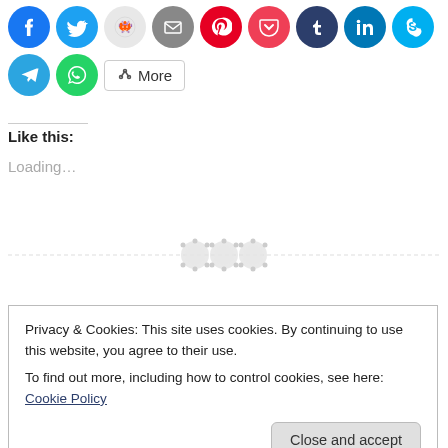[Figure (other): Row of social media sharing icon buttons: Facebook (blue), Twitter (blue), Reddit (light blue), Email (gray), Pinterest (red), Pocket (red), Tumblr (dark navy), LinkedIn (blue), Skype (teal), Telegram (blue), WhatsApp (green), and a More button with share icon]
Like this:
Loading…
[Figure (other): Three circular loading/spinner icons on a dashed horizontal divider line]
Privacy & Cookies: This site uses cookies. By continuing to use this website, you agree to their use.
To find out more, including how to control cookies, see here: Cookie Policy
Close and accept